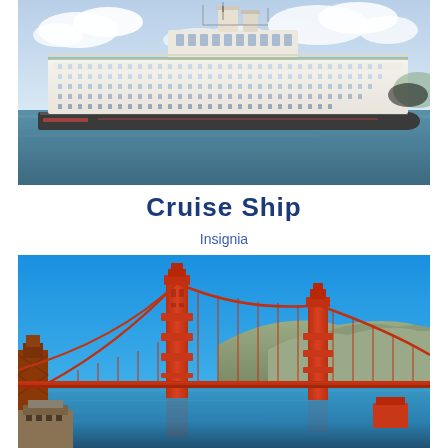[Figure (photo): Large white cruise ship (Insignia) sailing on blue-green ocean water with cloudy sky in background]
Cruise Ship
Insignia
[Figure (photo): Golden Gate Bridge in San Francisco with bright blue sky, calm blue bay water, and Marin Headlands hills in background]